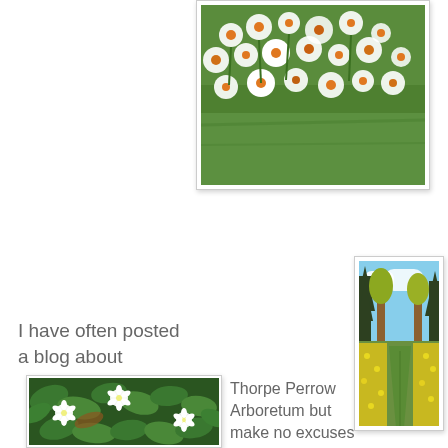[Figure (photo): Close-up photograph of white and orange daffodil flowers on a green grass lawn, viewed from above]
[Figure (photo): Wide photograph of a grass path through rows of yellow daffodils with tall trees on either side under a blue sky with clouds — Thorpe Perrow Arboretum]
I have often posted a blog about
[Figure (photo): Close-up photograph of white wood anemone flowers growing among green leaves on the forest floor]
Thorpe Perrow Arboretum but make no excuses for posting another one because if